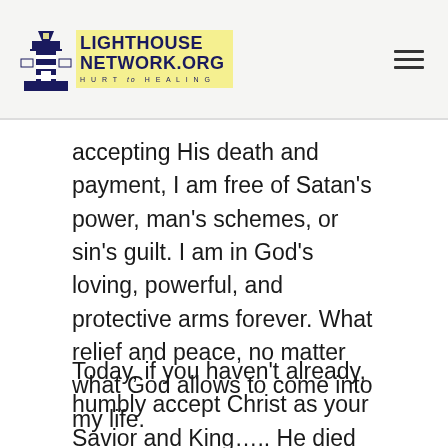separation from His Father as He bore our sins. He was willing to do that for Me, and
LIGHTHOUSE NETWORK.ORG HURT to HEALING
accepting His death and payment, I am free of Satan’s power, man’s schemes, or sin’s guilt. I am in God’s loving, powerful, and protective arms forever. What relief and peace, no matter what God allows to come into my life.
Today, if you haven’t already, humbly accept Christ as your Savior and King….. He died for your daily and eternal freedom, too.